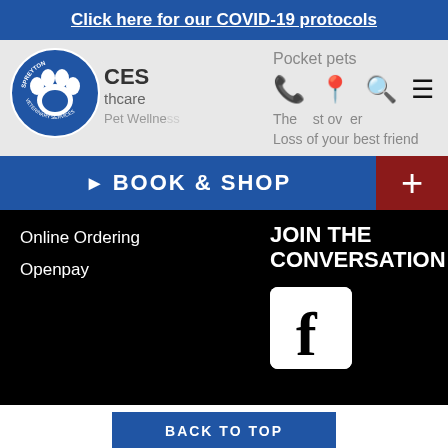Click here for our COVID-19 protocols
[Figure (logo): Spreyton Veterinary Services circular logo with paw print]
CES
thcare
Pet Wellness
Pocket pets
The st ov er
Loss of your best friend
▶  BOOK & SHOP
Online Ordering
Openpay
JOIN THE CONVERSATION
[Figure (logo): Facebook logo icon (white f on white background square)]
BACK TO TOP